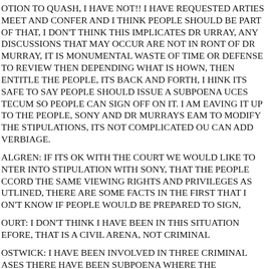OTION TO QUASH, I HAVE NOT!! I HAVE REQUESTED ARTIES MEET AND CONFER AND I THINK PEOPLE SHOULD BE PART OF THAT, I DON'T THINK THIS IMPLICATES DR URRAY, ANY DISCUSSIONS THAT MAY OCCUR ARE NOT IN RONT OF DR MURRAY, IT IS MONUMENTAL WASTE OF TIME OR DEFENSE TO REVIEW THEN DEPENDING WHAT IS HOWN, THEN ENTITLE THE PEOPLE, ITS BACK AND FORTH, I HINK ITS SAFE TO SAY PEOPLE SHOULD ISSUE A SUBPOENA UCES TECUM SO PEOPLE CAN SIGN OFF ON IT. I AM EAVING IT UP TO THE PEOPLE, SONY AND DR MURRAYS EAM TO MODIFY THE STIPULATIONS, ITS NOT COMPLICATED OU CAN ADD VERBIAGE.
ALGREN: IF ITS OK WITH THE COURT WE WOULD LIKE TO NTER INTO STIPULATION WITH SONY, THAT THE PEOPLE CCORD THE SAME VIEWING RIGHTS AND PRIVILEGES AS UTLINED, THERE ARE SOME FACTS IN THE FIRST THAT I ON'T KNOW IF PEOPLE WOULD BE PREPARED TO SIGN,
OURT: I DON'T THINK I HAVE BEEN IN THIS SITUATION EFORE, THAT IS A CIVIL ARENA, NOT CRIMINAL
OSTWICK: I HAVE BEEN INVOLVED IN THREE CRIMINAL ASES THERE HAVE BEEN SUBPOENA WHERE THE